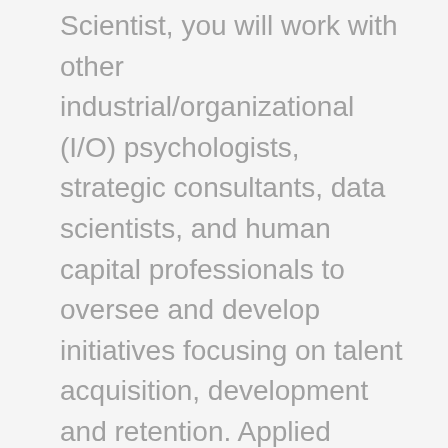Scientist, you will work with other industrial/organizational (I/O) psychologists, strategic consultants, data scientists, and human capital professionals to oversee and develop initiatives focusing on talent acquisition, development and retention. Applied Social Scientists use social science research methods to explore and address issues around organizational and program effectiveness. They develop solutions and provide data informed recommendations to enhance the way NSA does business. Applied Social Scientists work across the NSA performing one or more of the functions below. PRE-EMPLOYMENT ASSESSMENT AND SELECTION Applied Social Scientists focusing on pre-employment assessment and selection use their skills in psychometrics, assessments, and employee selection to develop assessment solutions supporting hiring at NSA. Specific activities may include: - Lead and